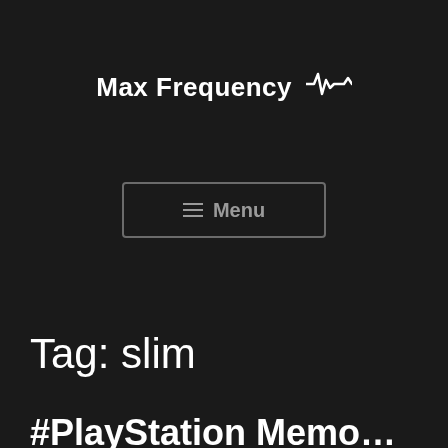Max Frequency ⌇
[Figure (other): Menu button with hamburger icon and text 'Menu', dark background with grey border]
Tag: slim
#PlayStation Memories